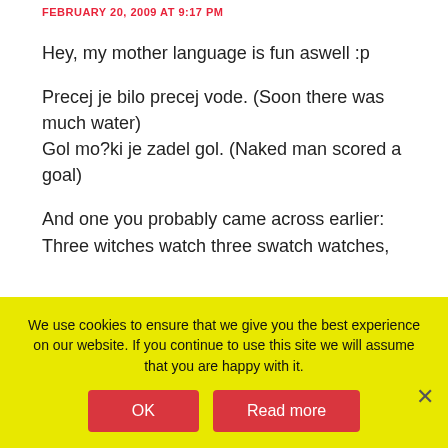FEBRUARY 20, 2009 AT 9:17 PM
Hey, my mother language is fun aswell :p
Precej je bilo precej vode. (Soon there was much water)
Gol mo?ki je zadel gol. (Naked man scored a goal)
And one you probably came across earlier:
Three witches watch three swatch watches,
We use cookies to ensure that we give you the best experience on our website. If you continue to use this site we will assume that you are happy with it.